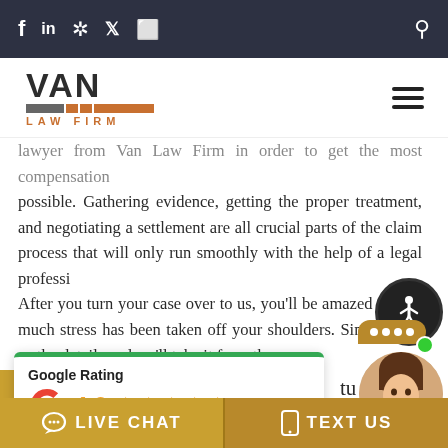f in ✦ 🐦 ⬜ 🔍 (social media icons and search — Van Law Firm top bar)
[Figure (logo): VAN LAW FIRM logo with orange underline decoration and hamburger menu icon]
lawyer from Van Law Firm in order to get the most compensation possible. Gathering evidence, getting the proper treatment, and negotiating a settlement are all crucial parts of the claim process that will only run smoothly with the help of a legal professional. After you turn your case over to us, you'll be amazed at how much stress has been taken off your shoulders. Simply give us the details and we'll take it from there.
[Figure (infographic): Google Rating widget: 4.9 stars, Based on 449 reviews. Green top border, Google G logo, 5 orange stars.]
Google Rating
4.9
Based on 449 reviews
[Figure (photo): Chat agent widget: gold speech bubble with three dots, circular photo of smiling young woman, green online dot, 'Online Agent' label]
tuation and
LIVE CHAT   TEXT US